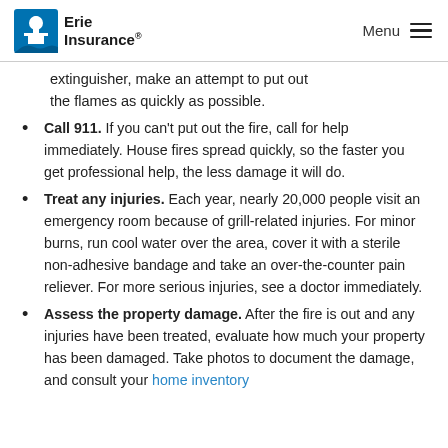Erie Insurance | Menu
extinguisher, make an attempt to put out the flames as quickly as possible.
Call 911. If you can't put out the fire, call for help immediately. House fires spread quickly, so the faster you get professional help, the less damage it will do.
Treat any injuries. Each year, nearly 20,000 people visit an emergency room because of grill-related injuries. For minor burns, run cool water over the area, cover it with a sterile non-adhesive bandage and take an over-the-counter pain reliever. For more serious injuries, see a doctor immediately.
Assess the property damage. After the fire is out and any injuries have been treated, evaluate how much your property has been damaged. Take photos to document the damage, and consult your home inventory